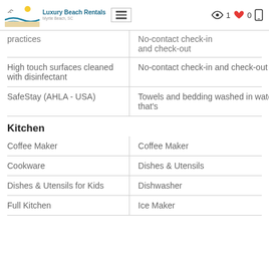Luxury Beach Rentals - Myrtle Beach, SC | Views: 1 | Likes: 0
practices
No-contact check-in and check-out
High touch surfaces cleaned with disinfectant
No-contact check-in and check-out
SafeStay (AHLA - USA)
Towels and bedding washed in water that's
Kitchen
Coffee Maker
Coffee Maker
Cookware
Dishes & Utensils
Dishes & Utensils for Kids
Dishwasher
Full Kitchen
Ice Maker